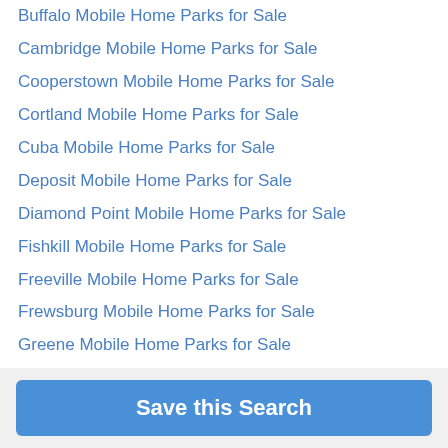Buffalo Mobile Home Parks for Sale
Cambridge Mobile Home Parks for Sale
Cooperstown Mobile Home Parks for Sale
Cortland Mobile Home Parks for Sale
Cuba Mobile Home Parks for Sale
Deposit Mobile Home Parks for Sale
Diamond Point Mobile Home Parks for Sale
Fishkill Mobile Home Parks for Sale
Freeville Mobile Home Parks for Sale
Frewsburg Mobile Home Parks for Sale
Greene Mobile Home Parks for Sale
Hamilton Mobile Home Parks for Sale
Hyde Park Mobile Home Parks for Sale
Kirkwood Mobile Home Parks for Sale
Mayfield Mobile Home Parks for Sale
Millport Mobile Home Parks for Sale
Save this Search